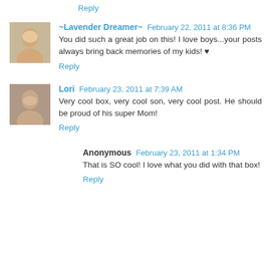Reply
~Lavender Dreamer~ February 22, 2011 at 8:36 PM
You did such a great job on this! I love boys...your posts always bring back memories of my kids! ♥
Reply
Lori February 23, 2011 at 7:39 AM
Very cool box, very cool son, very cool post. He should be proud of his super Mom!
Reply
Anonymous February 23, 2011 at 1:34 PM
That is SO cool! I love what you did with that box!
Reply